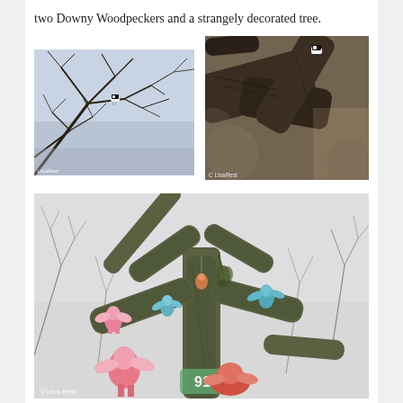two Downy Woodpeckers and a strangely decorated tree.
[Figure (photo): A Downy Woodpecker perched on bare winter tree branches against a light sky. Watermark: LisaRest]
[Figure (photo): Close-up of a Downy Woodpecker on a large dark tree branch. Watermark: C LisaRest]
[Figure (photo): A bare winter tree decorated with colorful toy figures and ornaments hanging from its branches. Watermark: © Lisa Rest]